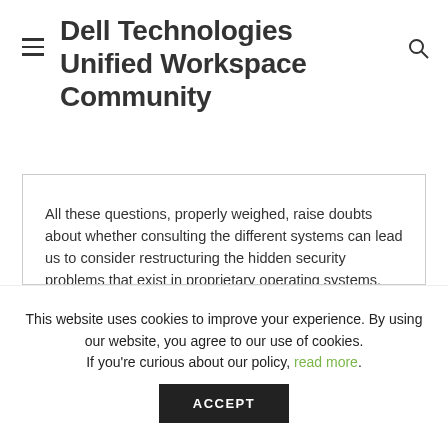Dell Technologies Unified Workspace Community
All these questions, properly weighed, raise doubts about whether consulting the different systems can lead us to consider restructuring the hidden security problems that exist in proprietary operating systems.
This website uses cookies to improve your experience. By using our website, you agree to our use of cookies. If you're curious about our policy, read more.
ACCEPT